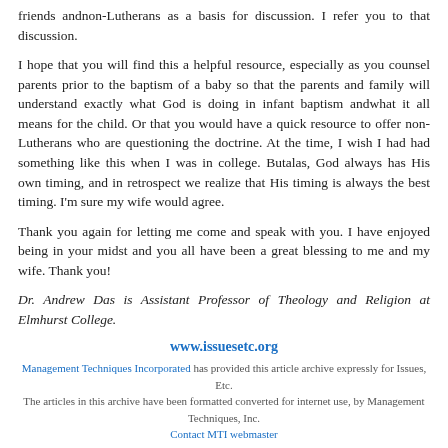friends andnon-Lutherans as a basis for discussion. I refer you to that discussion.
I hope that you will find this a helpful resource, especially as you counsel parents prior to the baptism of a baby so that the parents and family will understand exactly what God is doing in infant baptism andwhat it all means for the child. Or that you would have a quick resource to offer non-Lutherans who are questioning the doctrine. At the time, I wish I had had something like this when I was in college. Butalas, God always has His own timing, and in retrospect we realize that His timing is always the best timing. I'm sure my wife would agree.
Thank you again for letting me come and speak with you. I have enjoyed being in your midst and you all have been a great blessing to me and my wife. Thank you!
Dr. Andrew Das is Assistant Professor of Theology and Religion at Elmhurst College.
www.issuesetc.org
Management Techniques Incorporated has provided this article archive expressly for Issues, Etc. The articles in this archive have been formatted converted for internet use, by Management Techniques, Inc. Contact MTI webmaster